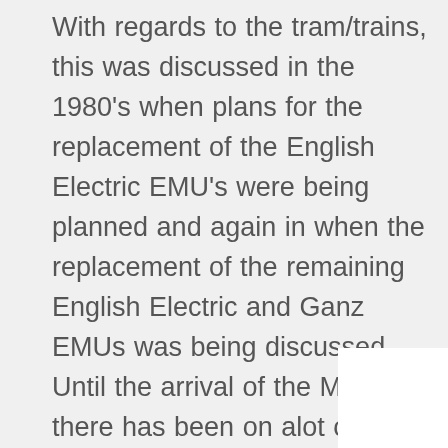With regards to the tram/trains, this was discussed in the 1980's when plans for the replacement of the English Electric EMU's were being planned and again in when the replacement of the remaining English Electric and Ganz EMUs was being discussed, Until the arrival of the Matangi's there has been on alot of discussions about tram/train or later LR from Johnsonville to Courtney Place or possibility to Wellington Hospital. With the 2 purchases of the Matangi's the tram/train discussion will not surface again for at least for 25 years, when the Matangi replacements will be discussed. By that time, most of the CBD would be